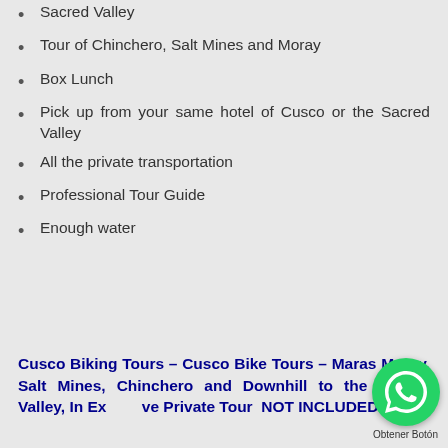Sacred Valley
Tour of Chinchero, Salt Mines and Moray
Box Lunch
Pick up from your same hotel of Cusco or the Sacred Valley
All the private transportation
Professional Tour Guide
Enough water
Cusco Biking Tours – Cusco Bike Tours – Maras Moray, Salt Mines, Chinchero and Downhill to the Sacred Valley, In Exclusive Private Tour  NOT INCLUDED: